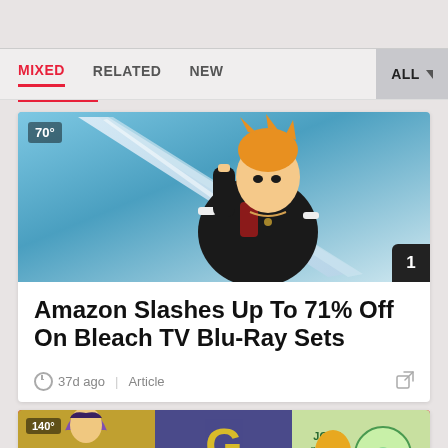MIXED | RELATED | NEW | ALL
[Figure (illustration): Anime character from Bleach (Ichigo Kurosaki) with orange hair in black robes, swinging a large sword, on a blue/grey background. Score badge showing 70° in top-left, number badge showing 1 in bottom-right.]
Amazon Slashes Up To 71% Off On Bleach TV Blu-Ray Sets
37d ago  |  Article
[Figure (illustration): JoJo's Bizarre Adventure themed strip showing anime characters and merchandise on red background. Score badge showing 140° in top-left, number badge showing 2 in bottom-right.]